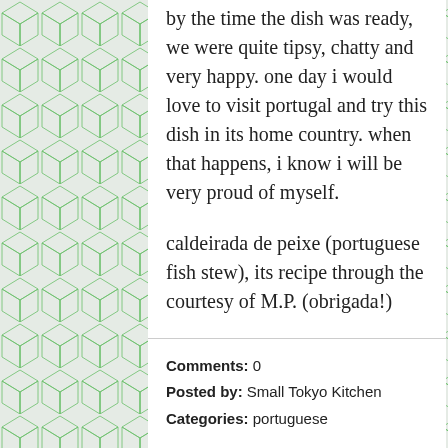by the time the dish was ready, we were quite tipsy, chatty and very happy. one day i would love to visit portugal and try this dish in its home country. when that happens, i know i will be very proud of myself.
caldeirada de peixe (portuguese fish stew), its recipe through the courtesy of M.P. (obrigada!)
Comments: 0
Posted by: Small Tokyo Kitchen
Categories: portuguese